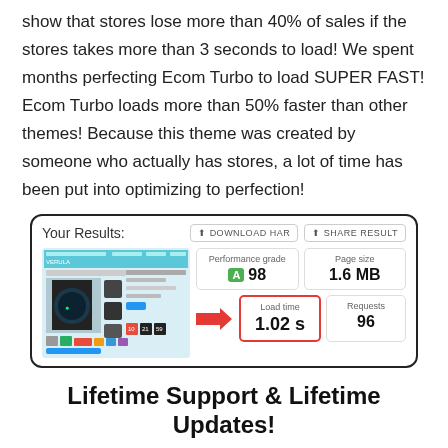show that stores lose more than 40% of sales if the stores takes more than 3 seconds to load! We spent months perfecting Ecom Turbo to load SUPER FAST! Ecom Turbo loads more than 50% faster than other themes! Because this theme was created by someone who actually has stores, a lot of time has been put into optimizing to perfection!
[Figure (screenshot): A web performance results panel showing: Performance grade A 98, Page size 1.6 MB, Load time 1.02 s (highlighted with red border and red arrow), Requests 96. Left side shows a screenshot of an ecommerce watch product page.]
Lifetime Support & Lifetime Updates!